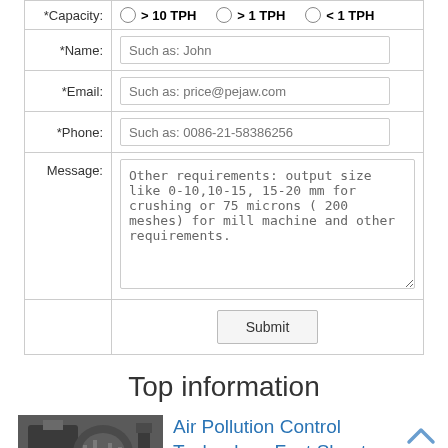| Field | Value |
| --- | --- |
| *Capacity: | > 10 TPH  > 1 TPH  < 1 TPH |
| *Name: | Such as: John |
| *Email: | Such as: price@pejaw.com |
| *Phone: | Such as: 0086-21-58386256 |
| Message: | Other requirements: output size like 0-10,10-15, 15-20 mm for crushing or 75 microns ( 200 meshes) for mill machine and other requirements. |
|  | Submit |
Top information
[Figure (photo): Industrial air pollution control equipment photo]
Air Pollution Control Technology Fact Sheet - Know